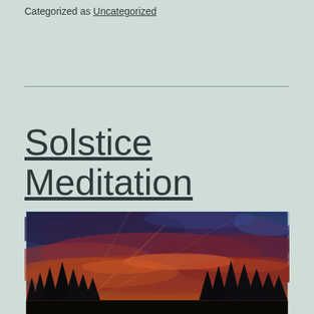Categorized as Uncategorized
Solstice Meditation
[Figure (photo): A dramatic sunset or sunrise photo showing vivid orange and red clouds illuminated near the horizon, with dark silhouettes of conifer trees along the bottom edge and a deep blue-purple sky above.]